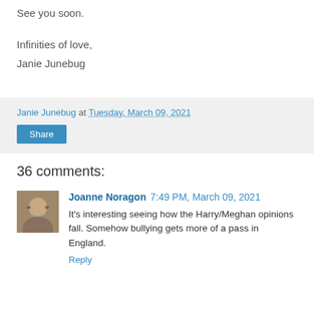See you soon.
Infinities of love,
Janie Junebug
Janie Junebug at Tuesday, March 09, 2021
Share
36 comments:
Joanne Noragon 7:49 PM, March 09, 2021
It's interesting seeing how the Harry/Meghan opinions fall. Somehow bullying gets more of a pass in England.
Reply